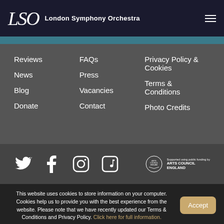London Symphony Orchestra
Reviews
News
Blog
Donate
FAQs
Press
Vacancies
Contact
Privacy Policy & Cookies
Terms & Conditions
Photo Credits
[Figure (logo): Social media icons: Twitter, Facebook, Instagram, Music/Apple Music, and Arts Council England logo]
This website uses cookies to store information on your computer. Cookies help us to provide you with the best experience from the website. Please note that we have recently updated our Terms & Conditions and Privacy Policy. Click here for full information.